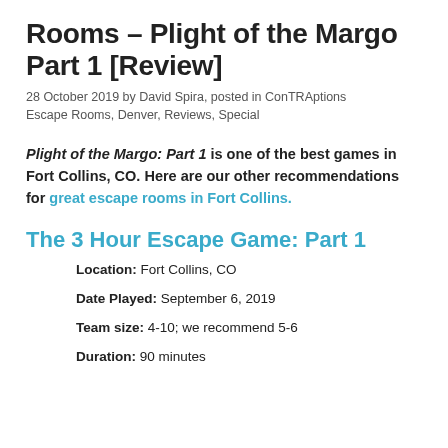Rooms – Plight of the Margo Part 1 [Review]
28 October 2019 by David Spira, posted in ConTRAptions Escape Rooms, Denver, Reviews, Special
Plight of the Margo: Part 1 is one of the best games in Fort Collins, CO. Here are our other recommendations for great escape rooms in Fort Collins.
The 3 Hour Escape Game: Part 1
Location: Fort Collins, CO
Date Played: September 6, 2019
Team size: 4-10; we recommend 5-6
Duration: 90 minutes